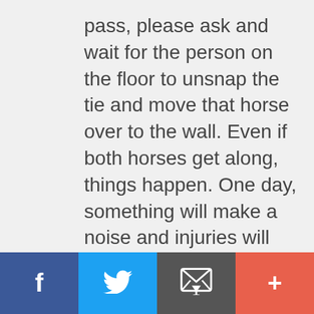pass, please ask and wait for the person on the floor to unsnap the tie and move that horse over to the wall. Even if both horses get along, things happen. One day, something will make a noise and injuries will ensue. So, no short cuts: undo the cross-tie and move the horse to the wall before passing. It is a good habit.
[Figure (other): Social sharing footer bar with four buttons: Facebook (blue), Twitter (light blue), Email/envelope (dark gray), and Plus/more (coral red)]